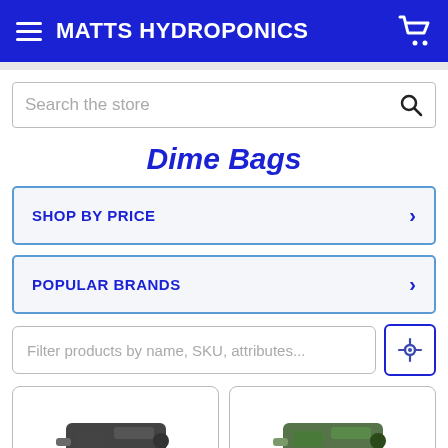MATTS HYDROPONICS
Search the store
Dime Bags
SHOP BY PRICE
POPULAR BRANDS
Filter products by name, SKU, attributes...
[Figure (screenshot): Two product card thumbnails at the bottom of the page showing Dime Bags products, partially cropped.]